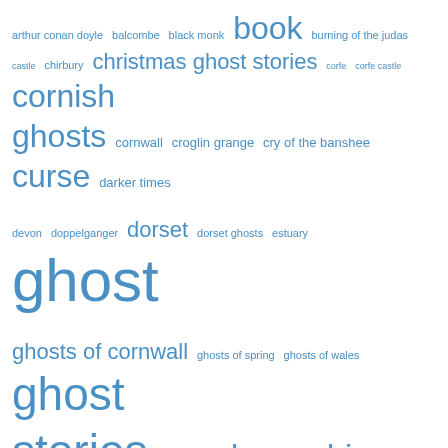[Figure (other): Word cloud with ghost/paranormal themed tags in various sizes in blue. Larger words include: ghost, haunting, haunted, paranormal, book, ghost stories, cornish ghosts, dorset, shropshire, mr james, spectre, short story, curse.]